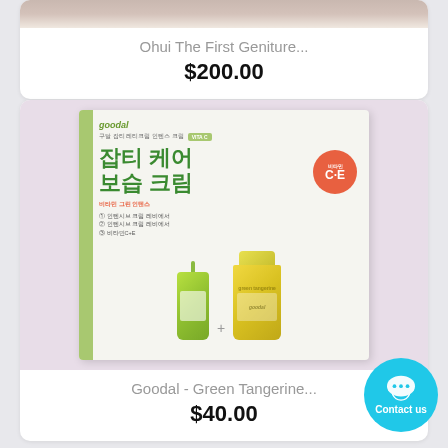[Figure (photo): Partial view of top product card showing a skincare product image (Ohui The First Geniture)]
Ohui The First Geniture...
$200.00
[Figure (photo): Goodal Green Tangerine skincare product set box showing Korean text and two product bottles]
Goodal - Green Tangerine...
$40.00
Contact us